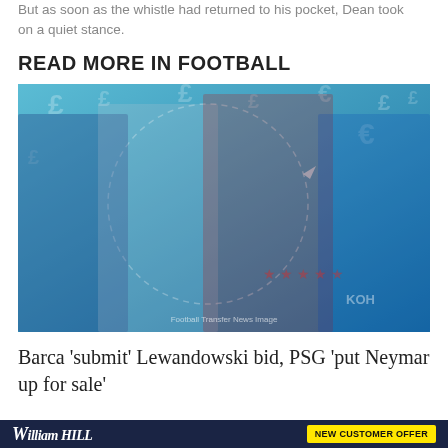But as soon as the whistle had returned to his pocket, Dean took on a quiet stance.
READ MORE IN FOOTBALL
[Figure (photo): Promotional football image showing four players: Mbappe (PSG), Lewandowski (Bayern Munich), Pogba (Manchester United), and Frenkie de Jong (Barcelona), on a blue background with currency symbols]
Barca 'submit' Lewandowski bid, PSG 'put Neymar up for sale'
[Figure (other): William Hill advertisement banner with 'NEW CUSTOMER OFFER' button in yellow]